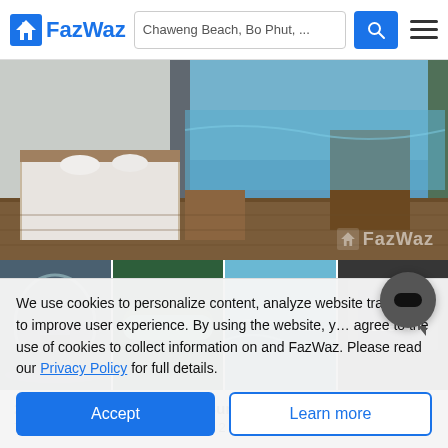[Figure (screenshot): FazWaz website header with logo, search bar showing 'Chaweng Beach, Bo Phut, ...', search button, and hamburger menu]
[Figure (photo): Main listing photo showing a luxury villa bedroom with white bedding, wooden furniture, and pool view in background. FazWaz watermark visible.]
[Figure (photo): Thumbnail row with 4 images: arched villa exterior, tropical hammock, infinity pool, and darkened 'See All' overlay]
2 Bedroom Villa for sale at Sunrise Estate
This property is a 77 SqM villa with 2 bedrooms and 1 bathroom that is
We use cookies to personalize content, analyze website traffic, and to improve user experience. By using the website, you agree to the use of cookies to collect information on and FazWaz. Please read our Privacy Policy for full details.